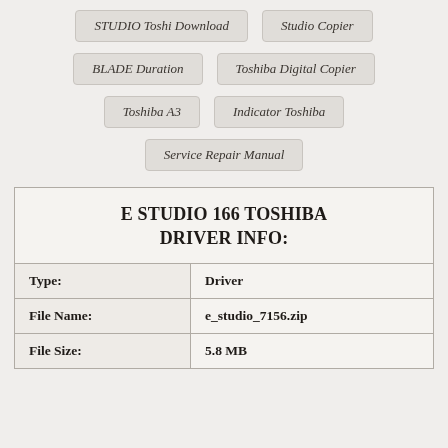STUDIO Toshi Download
Studio Copier
BLADE Duration
Toshiba Digital Copier
Toshiba A3
Indicator Toshiba
Service Repair Manual
E STUDIO 166 TOSHIBA DRIVER INFO:
| Type: | Driver |
| --- | --- |
| File Name: | e_studio_7156.zip |
| File Size: | 5.8 MB |